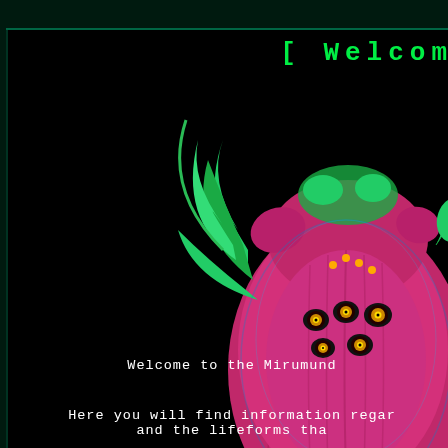[ Welcome
[Figure (illustration): Psychedelic alien creature head with multiple eyes, pink/purple coloring with green horns and tentacles, rendered in a pixel/retro art style against a black background]
Welcome to the Mirumund
Here you will find information regar and the lifeforms tha